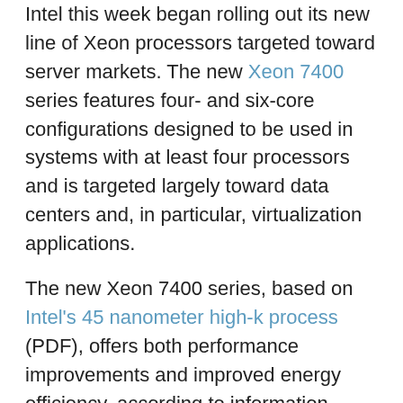Intel this week began rolling out its new line of Xeon processors targeted toward server markets. The new Xeon 7400 series features four- and six-core configurations designed to be used in systems with at least four processors and is targeted largely toward data centers and, in particular, virtualization applications.
The new Xeon 7400 series, based on Intel's 45 nanometer high-k process (PDF), offers both performance improvements and improved energy efficiency, according to information released by Intel. With 16 MB of shared level-3 cache and clock speeds of 2.66 GHz, the 7400 series' performance improvements are up to 50 percent compared with previous-generation chips. A Dell PowerEdge R900 using four 7400s (24 processing cores)